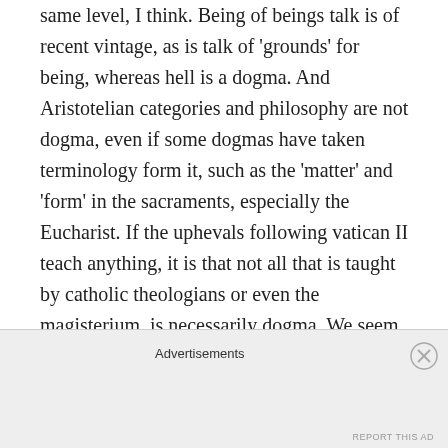same level, I think. Being of beings talk is of recent vintage, as is talk of 'grounds' for being, whereas hell is a dogma. And Aristotelian categories and philosophy are not dogma, even if some dogmas have taken terminology form it, such as the 'matter' and 'form' in the sacraments, especially the Eucharist. If the uphevals following vatican II teach anything, it is that not all that is taught by catholic theologians or even the magisterium, is necessarily dogma. We seem to be in a process of discernment regarding the boarders of what can be held and what must be.
Advertisements